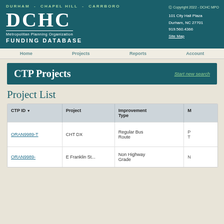DURHAM - CHAPEL HILL - CARRBORO | DCHC Metropolitan Planning Organization FUNDING DATABASE | © Copyright 2022 - DCHC MPO | 101 City Hall Plaza | Durham, NC 27701 | 919.560.4366 | Site Map
CTP Projects | Start new search
Project List
| CTP ID | Project | Improvement Type | M |
| --- | --- | --- | --- |
| ORAN9989-T | CHT DX | Regular Bus Route | P T |
| ORAN9989- | E Franklin St... | Non Highway Grade | N |